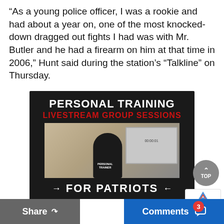“As a young police officer, I was a rookie and had about a year on, one of the most knocked-down dragged out fights I had was with Mr. Butler and he had a firearm on him at that time in 2006,” Hunt said during the station’s “Talkline” on Thursday.
[Figure (infographic): Advertisement for Personal Training Livestream Group Sessions for Patriots, showing a personal trainer standing in front of a large screen, with arrows on bottom and text.]
Share     Comments  3